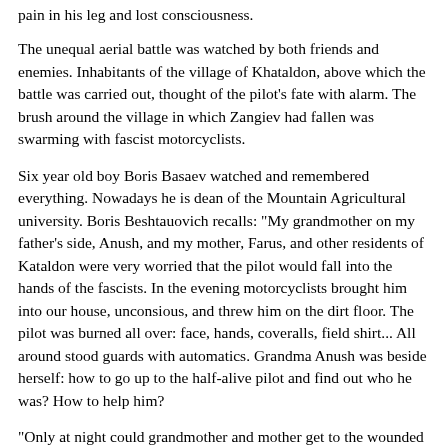pain in his leg and lost consciousness.
The unequal aerial battle was watched by both friends and enemies. Inhabitants of the village of Khataldon, above which the battle was carried out, thought of the pilot's fate with alarm. The brush around the village in which Zangiev had fallen was swarming with fascist motorcyclists.
Six year old boy Boris Basaev watched and remembered everything. Nowadays he is dean of the Mountain Agricultural university. Boris Beshtauovich recalls: "My grandmother on my father's side, Anush, and my mother, Farus, and other residents of Kataldon were very worried that the pilot would fall into the hands of the fascists. In the evening motorcyclists brought him into our house, unconsious, and threw him on the dirt floor. The pilot was burned all over: face, hands, coveralls, field shirt... All around stood guards with automatics. Grandma Anush was beside herself: how to go up to the half-alive pilot and find out who he was? How to help him?
"Only at night could grandmother and mother get to the wounded man. They got him to drink, and greased his burned face with sour milk. Later they found out that he was a fellow Osetian.
"The pilot was in our house for a few days. Officers and translators came to him. The interrogation began, but Zangiev was silent.